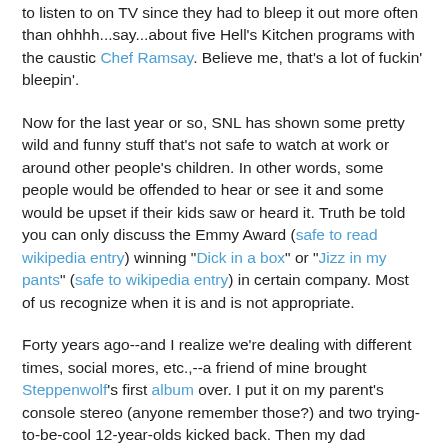to listen to on TV since they had to bleep it out more often than ohhhh...say...about five Hell's Kitchen programs with the caustic Chef Ramsay. Believe me, that's a lot of fuckin' bleepin'.
Now for the last year or so, SNL has shown some pretty wild and funny stuff that's not safe to watch at work or around other people's children. In other words, some people would be offended to hear or see it and some would be upset if their kids saw or heard it. Truth be told you can only discuss the Emmy Award (safe to read wikipedia entry) winning "Dick in a box" or "Jizz in my pants" (safe to wikipedia entry) in certain company. Most of us recognize when it is and is not appropriate.
Forty years ago--and I realize we're dealing with different times, social mores, etc.,--a friend of mine brought Steppenwolf's first album over. I put it on my parent's console stereo (anyone remember those?) and two trying-to-be-cool 12-year-olds kicked back. Then my dad unexpectedly came home from work. Remember, it was a different time. My dad was a strict disciplinarian. Panic stricken. Falling all to pieces, each by the opp time.